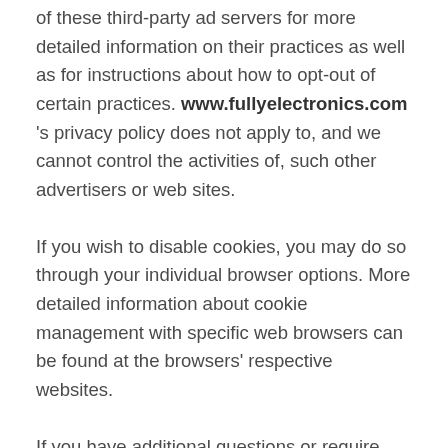of these third-party ad servers for more detailed information on their practices as well as for instructions about how to opt-out of certain practices. www.fullyelectronics.com 's privacy policy does not apply to, and we cannot control the activities of, such other advertisers or web sites.
If you wish to disable cookies, you may do so through your individual browser options. More detailed information about cookie management with specific web browsers can be found at the browsers' respective websites.
If you have additional questions or require more information about our Privacy Policy, do not hesitate to Contact through email at